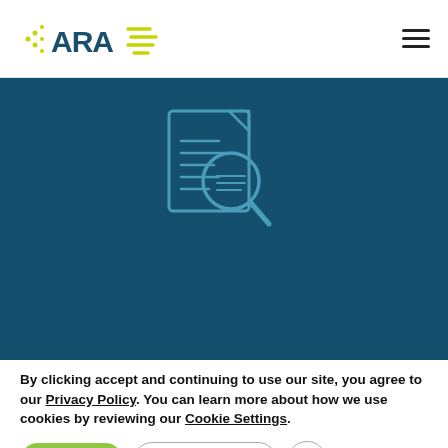[Figure (logo): ARA logo with navy blue text and yellow-green dots and dashes]
[Figure (illustration): Document with magnifying glass icon in teal outline style on dark teal background]
By clicking accept and continuing to use our site, you agree to our Privacy Policy. You can learn more about how we use cookies by reviewing our Cookie Settings.
Accept
Cookie Settings